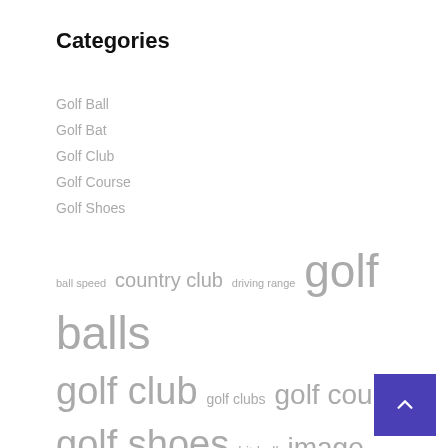Categories
Golf Ball
Golf Bat
Golf Club
Golf Course
Golf Shoes
ball speed  country club  driving range  golf balls  golf club  golf clubs  golf courses  golf shoes  hit ball  image credit  men women  pga tour  play golf  playing golf  spikeless golf  tiger woods  titleist pro  united states